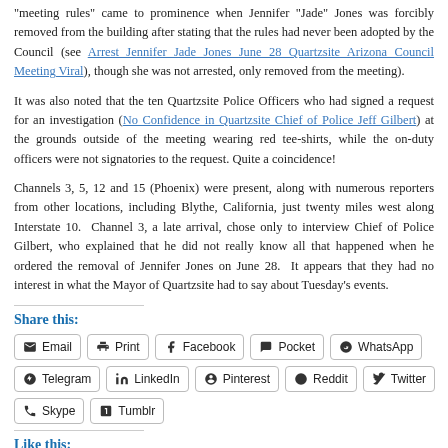“meeting rules” came to prominence when Jennifer “Jade” Jones was forcibly removed from the building after stating that the rules had never been adopted by the Council (see Arrest Jennifer Jade Jones June 28 Quartzsite Arizona Council Meeting Viral), though she was not arrested, only removed from the meeting).
It was also noted that the ten Quartzsite Police Officers who had signed a request for an investigation (No Confidence in Quartzsite Chief of Police Jeff Gilbert) were at the grounds outside of the meeting wearing red tee-shirts, while the on-duty officers were not signatories to the request. Quite a coincidence!
Channels 3, 5, 12 and 15 (Phoenix) were present, along with numerous reporters from other locations, including Blythe, California, just twenty miles west along Interstate 10. Channel 3, a late arrival, chose only to interview Chief of Police Gilbert, who explained that he did not really know all that happened when he ordered the removal of Jennifer Jones on June 28. It appears that they had no interest in what the Mayor of Quartzsite had to say about Tuesday’s events.
Share this:
Email
Print
Facebook
Pocket
WhatsApp
Telegram
LinkedIn
Pinterest
Reddit
Twitter
Skype
Tumblr
Like this: